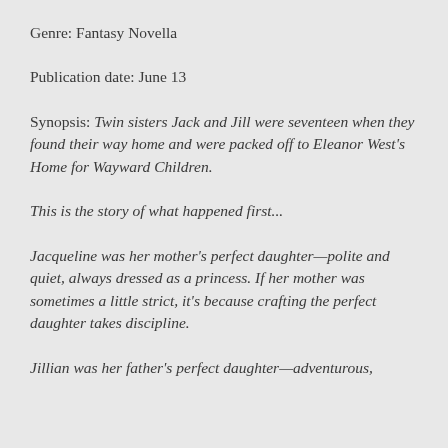Genre: Fantasy Novella
Publication date: June 13
Synopsis: Twin sisters Jack and Jill were seventeen when they found their way home and were packed off to Eleanor West's Home for Wayward Children.
This is the story of what happened first...
Jacqueline was her mother's perfect daughter—polite and quiet, always dressed as a princess. If her mother was sometimes a little strict, it's because crafting the perfect daughter takes discipline.
Jillian was her father's perfect daughter—adventurous,